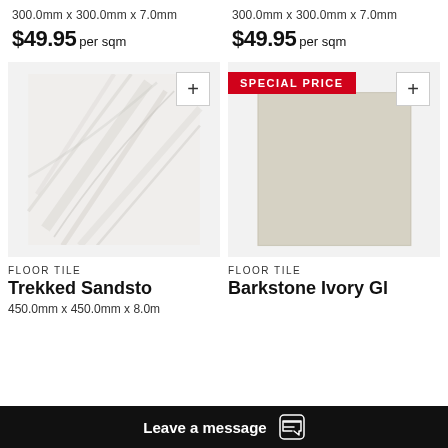300.0mm x 300.0mm x 7.0mm
300.0mm x 300.0mm x 7.0mm
$49.95 per sqm
$49.95 per sqm
[Figure (photo): Floor tile product image showing Trekked Sandstone tile with white marble-like texture]
[Figure (photo): Floor tile product image showing Barkstone Ivory Gl tile with plain ivory/beige texture, with SPECIAL PRICE badge]
FLOOR TILE
Trekked Sandsto...
450.0mm x 450.0mm x 8.0m...
FLOOR TILE
Barkstone Ivory Gl...
Leave a message